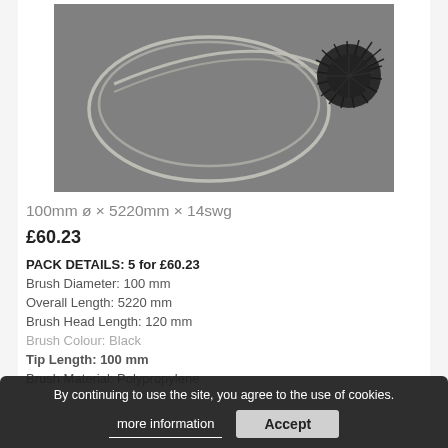[Figure (photo): Product photo of a chimney sweep brush: a long flexible white/grey coiled cable with a black bristle brush head on the right end, shown on a grey background.]
100mm ø × 5220mm × 14swg
£60.23
PACK DETAILS: 5 for £60.23
Brush Diameter: 100 mm
Overall Length: 5220 mm
Brush Head Length: 120 mm
Brush Colour: Black
Tip Length: 100 mm
Brush Material: Polypropylene
By continuing to use the site, you agree to the use of cookies.